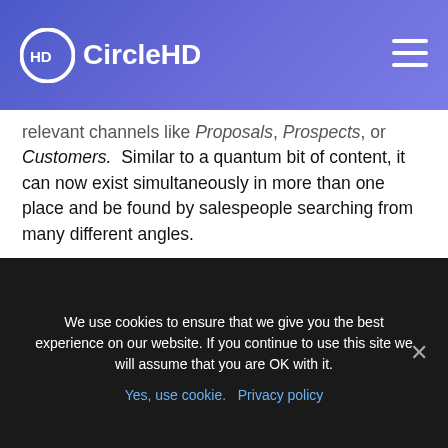CircleHD
relevant channels like Proposals, Prospects, or Customers. Similar to a quantum bit of content, it can now exist simultaneously in more than one place and be found by salespeople searching from many different angles.
The beauty of a channel-based system, as opposed to a traditional folder system, is that it allows you to quickly add content to a new or existing channel with a single click. Whereas, adding new folders to a large store of existing content is much more difficult and assets tend
We use cookies to ensure that we give you the best experience on our website. If you continue to use this site we will assume that you are OK with it.
Yes, use cookie. Privacy policy